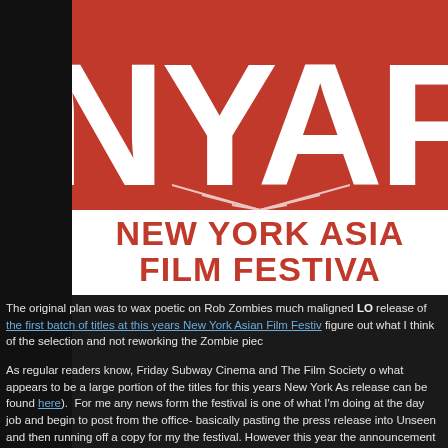[Figure (logo): New York Asian Film Festival (NYAFF) logo on red background with large white NYAFF letters and starburst graphic, with 'NEW YORK ASIAN FILM FESTIVAL' text below on white background in red lettering]
The original plan was to wax poetic on Rob Zombies much maligned LO release of the first batch of titles at this years New York Asian Film Festiv figure out what I think of the selection and not reworking the Zombie piec
As regular readers know, Friday Subway Cinema and The Film Society o what appears to be a large portion of the titles for this years New York As release can be found here).  For me any news form the festival is one of what I'm doing at the day job and begin to post from the office- basically pasting the press release into Unseen and then running off a copy for my the festival. However this year the announcement came just as all hell w office so all I really got to do was post the press release and glance at th